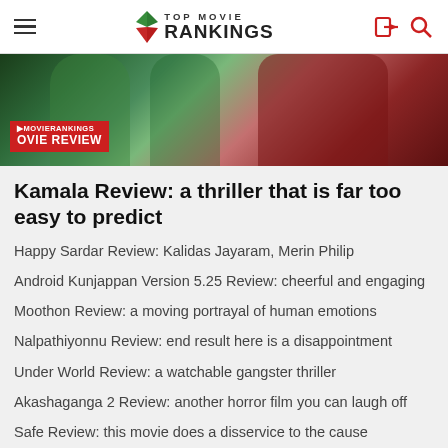TOP MOVIE RANKINGS
[Figure (photo): Background photo showing people, with a red overlay label reading 'TOPMOVIERANKINGS MOVIE REVIEW']
Kamala Review: a thriller that is far too easy to predict
Happy Sardar Review: Kalidas Jayaram, Merin Philip
Android Kunjappan Version 5.25 Review: cheerful and engaging
Moothon Review: a moving portrayal of human emotions
Nalpathiyonnu Review: end result here is a disappointment
Under World Review: a watchable gangster thriller
Akashaganga 2 Review: another horror film you can laugh off
Safe Review: this movie does a disservice to the cause